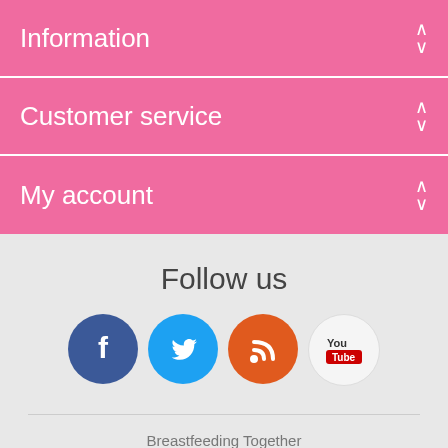Information
Customer service
My account
Follow us
[Figure (illustration): Four social media icon circles: Facebook (dark blue with f), Twitter (light blue with bird), RSS (orange with signal icon), YouTube (white with You Tube text)]
Breastfeeding Together
Wigan Investment Centre
Waterside Drive
Wigan
WN3 5BA
01942 777 903
shop@breastfeedingtogether.co.uk
Monday to Friday 10am to 4pm